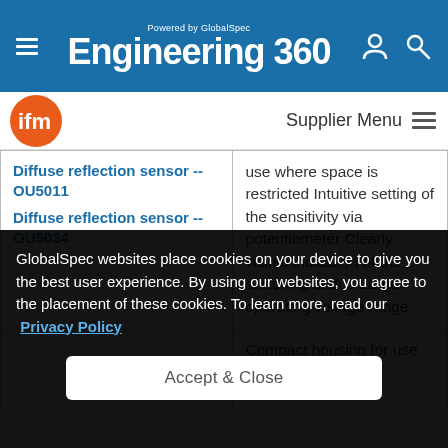Engineering 360 — Powered by GlobalSpec
[Figure (logo): ifm company logo — orange circle with 'ifm' text in white]
Supplier Menu
Diffuse reflection sensor -- OU5011
Diffuse reflection sensor -- OU5034
use where space is restricted Intuitive setting of the sensitivity via potentiometer Clearly visible indication of the switching status Large operating voltage range
Compact housing for use where space is
GlobalSpec websites place cookies on your device to give you the best user experience. By using our websites, you agree to the placement of these cookies. To learn more, read our Privacy Policy
Accept & Close